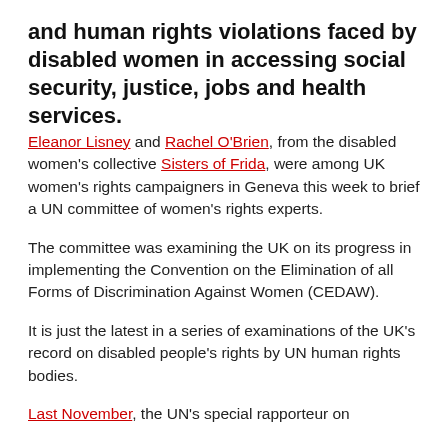and human rights violations faced by disabled women in accessing social security, justice, jobs and health services.
Eleanor Lisney and Rachel O'Brien, from the disabled women's collective Sisters of Frida, were among UK women's rights campaigners in Geneva this week to brief a UN committee of women's rights experts.
The committee was examining the UK on its progress in implementing the Convention on the Elimination of all Forms of Discrimination Against Women (CEDAW).
It is just the latest in a series of examinations of the UK's record on disabled people's rights by UN human rights bodies.
Last November, the UN's special rapporteur on...